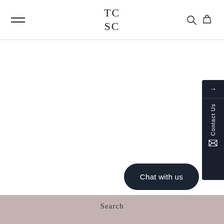TCSC — navigation header with hamburger menu, logo, search and cart icons
[Figure (screenshot): Sidebar contact widget on right edge, dark navy background, with arrow, 'Contact Us' vertical text, and envelope icon]
[Figure (other): Chat with us button, dark navy rounded pill button]
Search